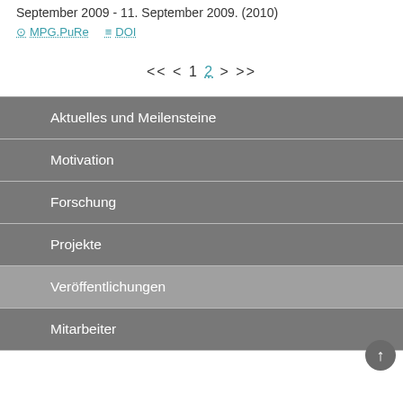September 2009 - 11. September 2009. (2010)
MPG.PuRe   DOI
<< < 1 2 > >>
Aktuelles und Meilensteine
Motivation
Forschung
Projekte
Veröffentlichungen
Mitarbeiter